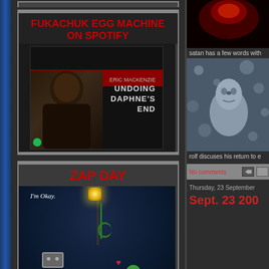[Figure (illustration): Blog sidebar card for Fukachuk Egg Machine on Spotify, showing red text title and album cover image with person]
[Figure (illustration): Blog sidebar card for Zap Day, showing red text title and cartoon night scene with robot and green creature captioned 'I'm Okay.']
[Figure (photo): Right column top image showing a dark red glowing scene]
satan has a few words with
[Figure (photo): Right column middle image showing a man looking up surrounded by bokeh/bubbles in black and white]
rolf discuses his return to e
No comments
Thursday, 23 September
Sept. 23 200